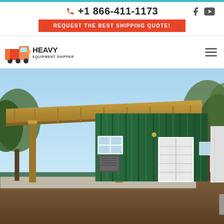+1 866-411-1173 | REQUEST THE BEST SHIPPING QUOTE!
[Figure (logo): Heavy Equipment Shipper logo with red and orange truck icon and bold text]
[Figure (photo): A green corrugated metal shipping container converted into a building with a wooden lean-to roof extension, white French doors, and an HVAC unit, set on a concrete pad surrounded by trees and dirt]